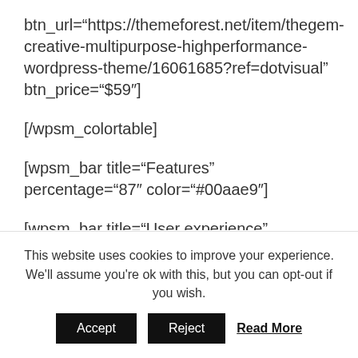btn_url="https://themeforest.net/item/thegem-creative-multipurpose-highperformance-wordpress-theme/16061685?ref=dotvisual" btn_price="$59"]
[/wpsm_colortable]
[wpsm_bar title="Features" percentage="87" color="#00aae9"]
[wpsm_bar title="User experience" percentage="84" color="#00aae9"]
This website uses cookies to improve your experience. We'll assume you're ok with this, but you can opt-out if you wish.
Accept Reject Read More